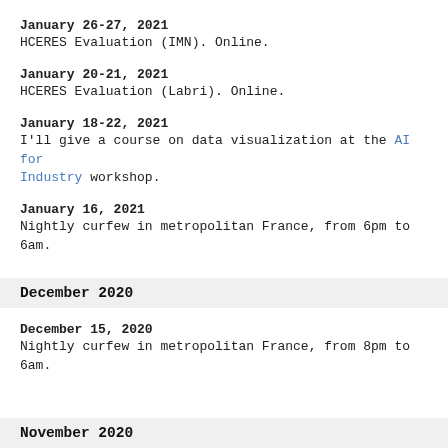January 26-27, 2021
HCERES Evaluation (IMN). Online.
January 20-21, 2021
HCERES Evaluation (Labri). Online.
January 18-22, 2021
I'll give a course on data visualization at the AI for Industry workshop.
January 16, 2021
Nightly curfew in metropolitan France, from 6pm to 6am.
December 2020
December 15, 2020
Nightly curfew in metropolitan France, from 8pm to 6am.
November 2020